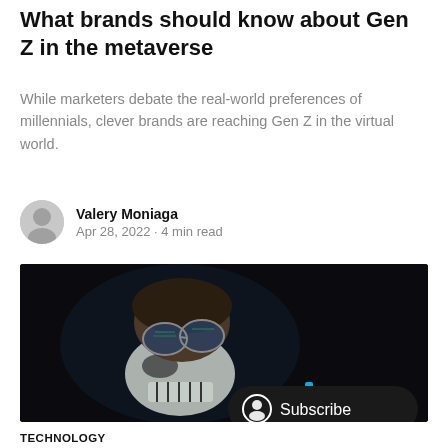What brands should know about Gen Z in the metaverse
While marketers debate the real-world preferences of millennials, clever brands are reaching Gen Z in the virtual world.
Valery Moniaga
Apr 28, 2022 • 4 min read
[Figure (photo): Dark photo of a person wearing reflective glasses with skull face paint, against a dark background. A 'Subscribe' button overlay appears at the bottom right.]
TECHNOLOGY